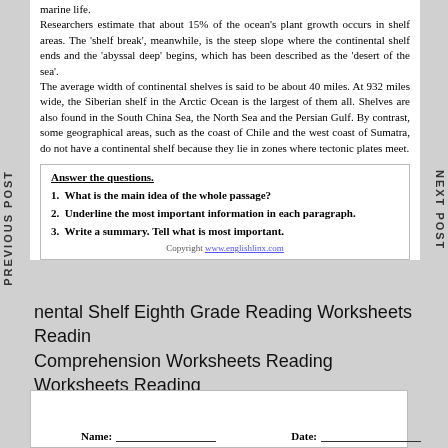marine life. Researchers estimate that about 15% of the ocean's plant growth occurs in shelf areas. The 'shelf break', meanwhile, is the steep slope where the continental shelf ends and the 'abyssal deep' begins, which has been described as the 'desert of the sea'. The average width of continental shelves is said to be about 40 miles. At 932 miles wide, the Siberian shelf in the Arctic Ocean is the largest of them all. Shelves are also found in the South China Sea, the North Sea and the Persian Gulf. By contrast, some geographical areas, such as the coast of Chile and the west coast of Sumatra, do not have a continental shelf because they lie in zones where tectonic plates meet.
Answer the questions.
1.  What is the main idea of the whole passage?
2.  Underline the most important information in each paragraph.
3.  Write a summary. Tell what is most important.
Copyright www.englishlinx.com
PREVIOUS POST
NEXT POST
nental Shelf Eighth Grade Reading Worksheets Reading Comprehension Worksheets Reading Worksheets Reading Comprehension Texts
| Name: | Date: |
| --- | --- |
|  |  |